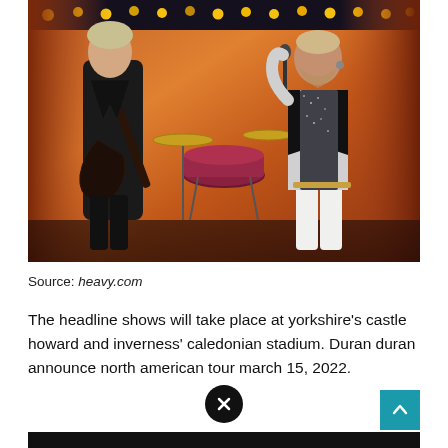[Figure (photo): Two musicians performing on stage: a guitarist on the left wearing a black leather jacket with a dark electric guitar, and a singer on the right in a white jacket and speckled vest holding a microphone. Drum kit visible in the background. Stage has warm orange/red lighting with yellow stage lights along the top.]
Source: heavy.com
The headline shows will take place at yorkshire's castle howard and inverness' caledonian stadium. Duran duran announce north american tour march 15, 2022.